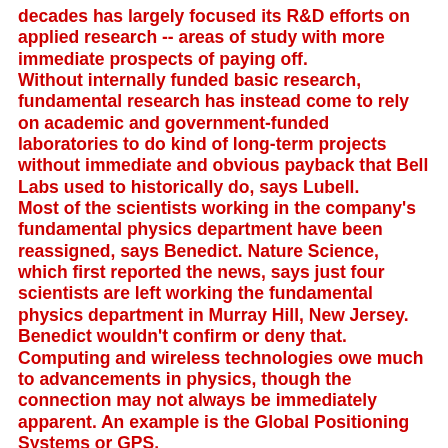decades has largely focused its R&D efforts on applied research -- areas of study with more immediate prospects of paying off.
Without internally funded basic research, fundamental research has instead come to rely on academic and government-funded laboratories to do kind of long-term projects without immediate and obvious payback that Bell Labs used to historically do, says Lubell.
Most of the scientists working in the company's fundamental physics department have been reassigned, says Benedict. Nature Science, which first reported the news, says just four scientists are left working the fundamental physics department in Murray Hill, New Jersey. Benedict wouldn't confirm or deny that.
Computing and wireless technologies owe much to advancements in physics, though the connection may not always be immediately apparent. An example is the Global Positioning Systems or GPS.